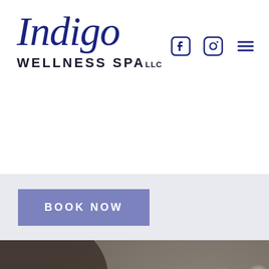[Figure (logo): Indigo Wellness Spa LLC logo with italic script 'Indigo' in dark navy and bold uppercase 'WELLNESS SPA LLC' below]
[Figure (other): Facebook, Instagram, and hamburger menu icons in dark navy]
BOOK NOW
[Figure (photo): Photo of a woman receiving a facial spa treatment, with hands applying round sponge pads to her face, bokeh background with warm lights]